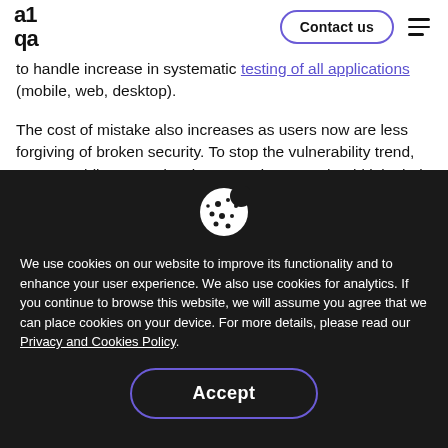a1qa | Contact us
to handle increase in systematic testing of all applications (mobile, web, desktop).
The cost of mistake also increases as users now are less forgiving of broken security. To stop the vulnerability trend, users, mobiles apps developers and testers should join their efforts. Users shouldn't share their personal data and have to become smarter downloaders;
We use cookies on our website to improve its functionality and to enhance your user experience. We also use cookies for analytics. If you continue to browse this website, we will assume you agree that we can place cookies on your device. For more details, please read our Privacy and Cookies Policy.
[Figure (illustration): Cookie icon — white cookie with bite taken out on dark background]
Accept